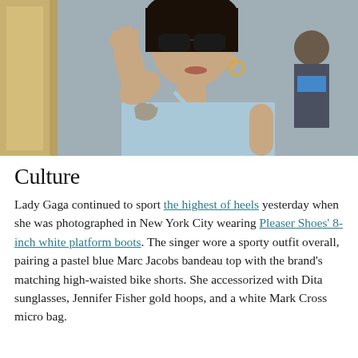[Figure (photo): Lady Gaga wearing dark cat-eye sunglasses and gold hoop earrings, dressed in a pastel blue bandeau top, with a tattoo visible on her upper arm, waving her right hand. She is photographed outdoors in New York City. A man in a blue mask is visible in the background.]
Culture
Lady Gaga continued to sport the highest of heels yesterday when she was photographed in New York City wearing Pleaser Shoes' 8-inch white platform boots. The singer wore a sporty outfit overall, pairing a pastel blue Marc Jacobs bandeau top with the brand's matching high-waisted bike shorts. She accessorized with Dita sunglasses, Jennifer Fisher gold hoops, and a white Mark Cross micro bag.